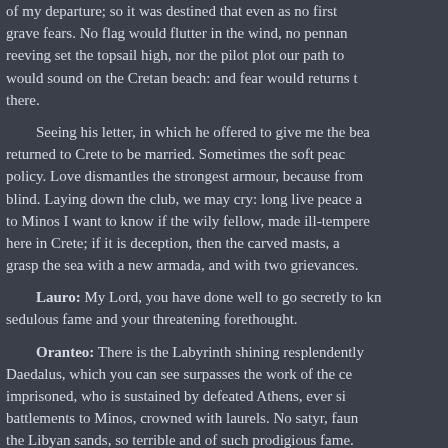of my departure; so it was destined that even as no first grave fears. No flag would flutter in the wind, no pennan reeving set the topsail high, nor the pilot plot our path to would sound on the Cretan beach: and fear would returns t there.
Seeing his letter, in which he offered to give me the bea returned to Crete to be married. Sometimes the soft peac policy. Love dismantles the strongest armour, because from blind. Laying down the club, we may cry: long live peace a to Minos I want to know if the wily fellow, made ill-tempere here in Crete; if it is deception, then the carved masts, a grasp the sea with a new armada, and with two grievances.
Lauro: My Lord, you have done well to go secretly to kn sedulous fame and your threatening forethought.
Oranteo: There is the Labyrinth shining resplendently Daedalus, which you can see surpasses the work of the ce imprisoned, who is sustained by defeated Athens, ever si battlements to Minos, crowned with laurels. No satyr, faun the Libyan sands, so terrible and of such prodigious fame.
Lauro: Sad the Greeks who are named to such a fate!
Oranteo: See how, through grilles and from balconies, th has entered the Labyrinth.